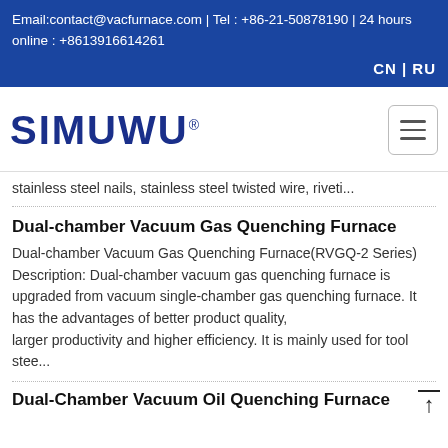Email:contact@vacfurnace.com | Tel : +86-21-50878190 | 24 hours online : +8613916614261
CN | RU
[Figure (logo): SIMUWU logo with registered trademark symbol]
stainless steel nails, stainless steel twisted wire, riveti...
Dual-chamber Vacuum Gas Quenching Furnace
Dual-chamber Vacuum Gas Quenching Furnace(RVGQ-2 Series) Description: Dual-chamber vacuum gas quenching furnace is upgraded from vacuum single-chamber gas quenching furnace. It has the advantages of better product quality, larger productivity and higher efficiency. It is mainly used for tool stee...
Dual-Chamber Vacuum Oil Quenching Furnace